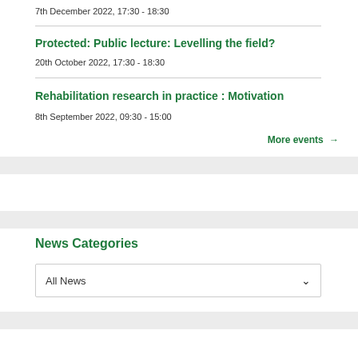7th December 2022, 17:30 - 18:30
Protected: Public lecture: Levelling the field?
20th October 2022, 17:30 - 18:30
Rehabilitation research in practice : Motivation
8th September 2022, 09:30 - 15:00
More events →
News Categories
All News